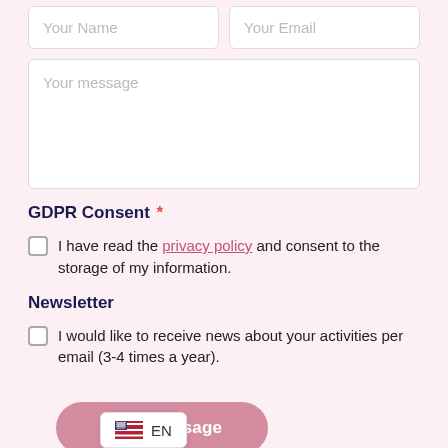Your Name
Your Email
Your message
GDPR Consent *
I have read the privacy policy and consent to the storage of my information.
Newsletter
I would like to receive news about your activities per email (3-4 times a year).
Send Message
EN